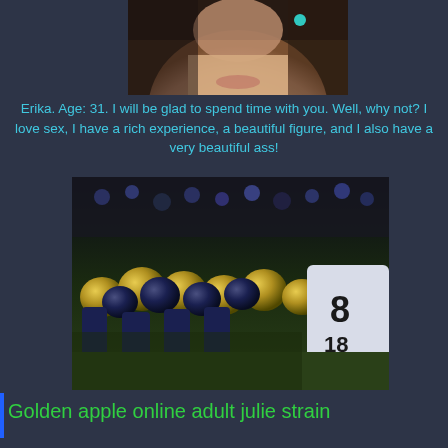[Figure (photo): Close-up photo of a woman's neck and lower face, cropped]
Erika. Age: 31. I will be glad to spend time with you. Well, why not? I love sex, I have a rich experience, a beautiful figure, and I also have a very beautiful ass!
[Figure (photo): American football players lined up on the line of scrimmage, wearing gold helmets on one side and white jerseys on the other]
Golden apple online adult julie strain